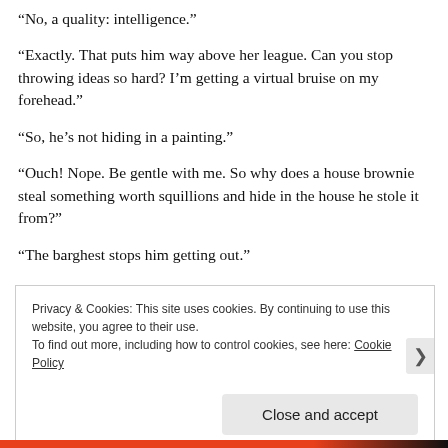“No, a quality: intelligence.”
“Exactly. That puts him way above her league. Can you stop throwing ideas so hard? I’m getting a virtual bruise on my forehead.”
“So, he’s not hiding in a painting.”
“Ouch! Nope. Be gentle with me. So why does a house brownie steal something worth squillions and hide in the house he stole it from?”
“The barghest stops him getting out.”
Privacy & Cookies: This site uses cookies. By continuing to use this website, you agree to their use.
To find out more, including how to control cookies, see here: Cookie Policy
Close and accept